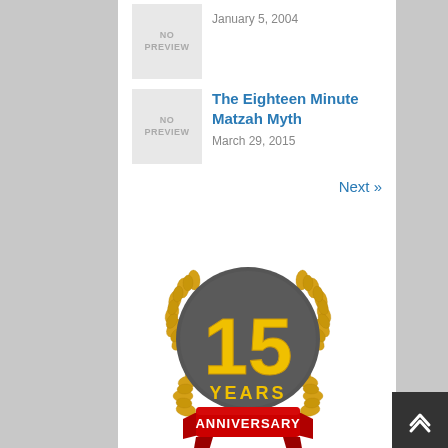[Figure (other): No preview placeholder image box]
January 5, 2004
[Figure (other): No preview placeholder image box]
The Eighteen Minute Matzah Myth
March 29, 2015
Next »
[Figure (illustration): 15 Years Anniversary badge/seal with gold laurel wreath, dark gray circle, yellow number 15, text YEARS, and red ribbon banner with ANNIVERSARY text]